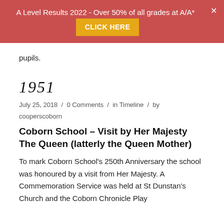A Level Results 2022 - Over 50% of all grades at A/A*   CLICK HERE
pupils.
1951
July 25, 2018 / 0 Comments / in Timeline / by cooperscoborn
Coborn School – Visit by Her Majesty The Queen (latterly the Queen Mother)
To mark Coborn School's 250th Anniversary the school was honoured by a visit from Her Majesty. A Commemoration Service was held at St Dunstan's Church and the Coborn Chronicle Play